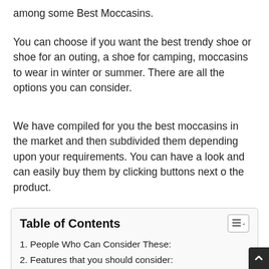among some Best Moccasins.
You can choose if you want the best trendy shoe or shoe for an outing, a shoe for camping, moccasins to wear in winter or summer. There are all the options you can consider.
We have compiled for you the best moccasins in the market and then subdivided them depending upon your requirements. You can have a look and can easily buy them by clicking buttons next o the product.
| 1. People Who Can Consider These: |
| 2. Features that you should consider: |
| 2.1. Cushioning: |
| 2.2. Traction: |
| 2.3. Design and color: |